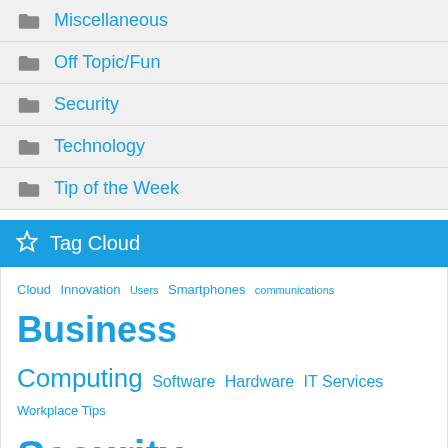Miscellaneous
Off Topic/Fun
Security
Technology
Tip of the Week
Tag Cloud
Cloud Innovation Users Smartphones communications Business Computing Software Hardware IT Services Workplace Tips Security Mobile Devices Best Practices IT Support Android Email Malware Privacy Ransomware Internet Hackers Productivity Mo... Device Tip of the Week Communication Google Technology Managed IT Services Hosted Solutions Cybersecurity Small